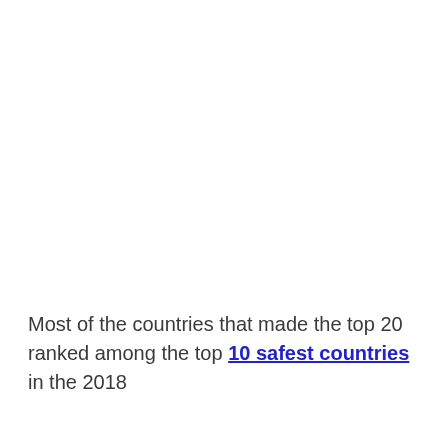Most of the countries that made the top 20 ranked among the top 10 safest countries in the 2018